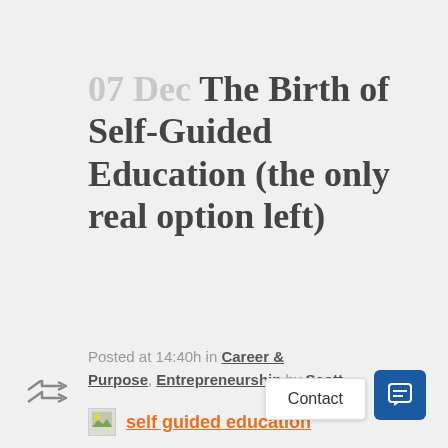07 Dec The Birth of Self-Guided Education (the only real option left)
Posted at 14:40h in Career & Purpose, Entrepreneurship by Scott
[Figure (illustration): Small image placeholder icon followed by orange underlined link text reading 'self guided education']
Contact
[Figure (other): Blue chat button icon]
[Figure (other): Share/forward arrow icon]